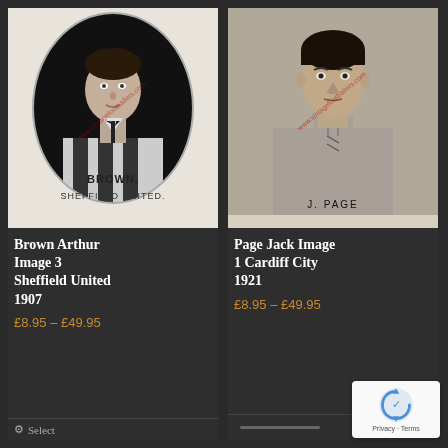[Figure (photo): Vintage black and white football cigarette card showing a young man in striped jersey in oval frame. Caption reads BROWN, SHEFFIELD UNITED.]
Brown Arthur Image 3 Sheffield United 1907
£8.95 – £49.95
[Figure (photo): Vintage black and white photograph of a footballer in plain jersey. Caption reads J. PAGE]
Page Jack Image 1 Cardiff City 1921
£8.95 – £49.95